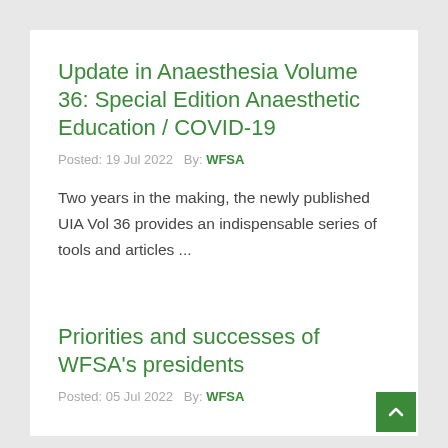Update in Anaesthesia Volume 36: Special Edition Anaesthetic Education / COVID-19
Posted: 19 Jul 2022   By: WFSA
Two years in the making, the newly published UIA Vol 36 provides an indispensable series of tools and articles ...
Priorities and successes of WFSA's presidents
Posted: 05 Jul 2022   By: WFSA